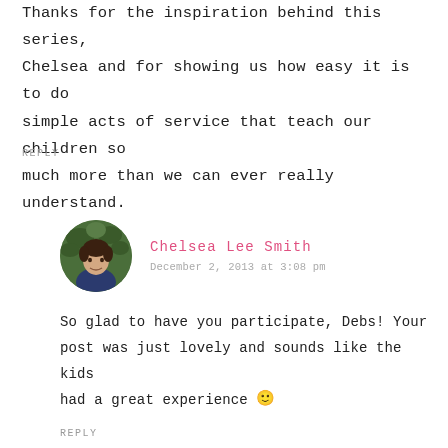Thanks for the inspiration behind this series, Chelsea and for showing us how easy it is to do simple acts of service that teach our children so much more than we can ever really understand.
REPLY
Chelsea Lee Smith
December 2, 2013 at 3:08 pm
So glad to have you participate, Debs! Your post was just lovely and sounds like the kids had a great experience 🙂
REPLY